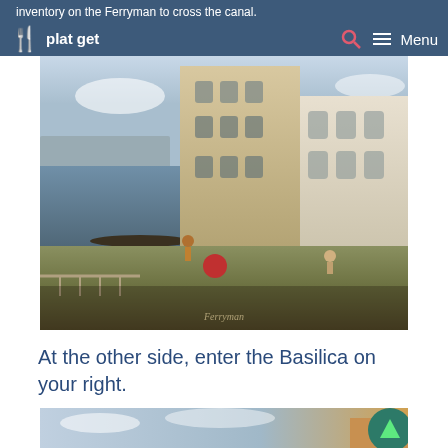inventory on the Ferryman to cross the canal.
[Figure (photo): Painting of Venice canal scene with Venetian buildings, water, gondola, and figures on the embankment. Caption reads 'Ferryman'.]
At the other side, enter the Basilica on your right.
[Figure (photo): Partial view of a painting showing sky and a building corner, with a circular green scroll button overlaid.]